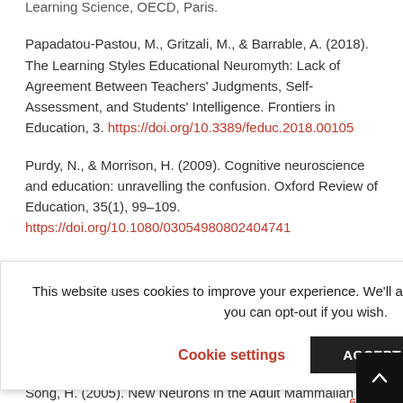Learning Science, OECD, Paris.
Papadatou-Pastou, M., Gritzali, M., & Barrable, A. (2018). The Learning Styles Educational Neuromyth: Lack of Agreement Between Teachers' Judgments, Self-Assessment, and Students' Intelligence. Frontiers in Education, 3. https://doi.org/10.3389/feduc.2018.00105
Purdy, N., & Morrison, H. (2009). Cognitive neuroscience and education: unravelling the confusion. Oxford Review of Education, 35(1), 99–109. https://doi.org/10.1080/03054980802404741
This website uses cookies to improve your experience. We'll assume you're ok with this, but you can opt-out if you wish.
Cookie settings | ACCEPT
…c, P. S. (1994). …ex: implications …Progress in Brain …6/s0079
Song, H. (2005). New Neurons in the Adult Mammalian